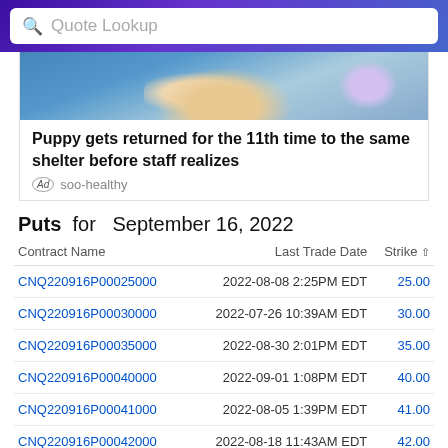Quote Lookup
[Figure (photo): Advertisement image showing puppy/animal with blue background]
Puppy gets returned for the 11th time to the same shelter before staff realizes
Ad  soo-healthy
Puts  for  September 16, 2022
| Contract Name | Last Trade Date | Strike ↑ |
| --- | --- | --- |
| CNQ220916P00025000 | 2022-08-08 2:25PM EDT | 25.00 |
| CNQ220916P00030000 | 2022-07-26 10:39AM EDT | 30.00 |
| CNQ220916P00035000 | 2022-08-30 2:01PM EDT | 35.00 |
| CNQ220916P00040000 | 2022-09-01 1:08PM EDT | 40.00 |
| CNQ220916P00041000 | 2022-08-05 1:39PM EDT | 41.00 |
| CNQ220916P00042000 | 2022-08-18 11:43AM EDT | 42.00 |